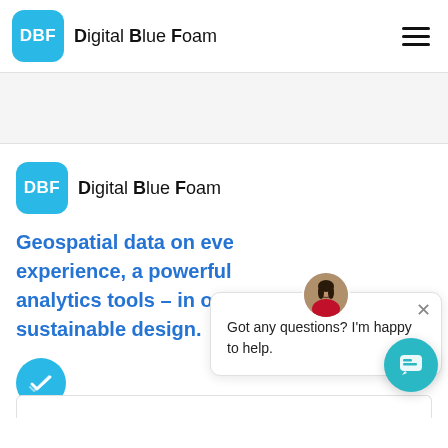DBF Digital Blue Foam
[Figure (screenshot): Gray placeholder/banner area below the navigation bar]
[Figure (logo): DBF Digital Blue Foam logo with cyan rounded square icon]
Geospatial data on eve experience, a powerful analytics tools - in one sustainable design.
[Figure (illustration): Circular chat popup with avatar of a woman in pink, close button, and message: Got any questions? I'm happy to help.]
[Figure (other): Cyan circular check/tick icon button]
[Figure (other): Teal circular chat widget button in bottom right corner]